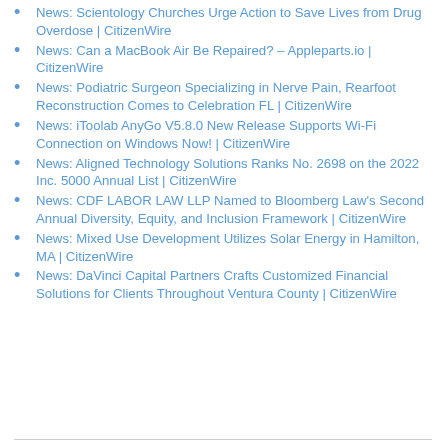News: Scientology Churches Urge Action to Save Lives from Drug Overdose | CitizenWire
News: Can a MacBook Air Be Repaired? – Appleparts.io | CitizenWire
News: Podiatric Surgeon Specializing in Nerve Pain, Rearfoot Reconstruction Comes to Celebration FL | CitizenWire
News: iToolab AnyGo V5.8.0 New Release Supports Wi-Fi Connection on Windows Now! | CitizenWire
News: Aligned Technology Solutions Ranks No. 2698 on the 2022 Inc. 5000 Annual List | CitizenWire
News: CDF LABOR LAW LLP Named to Bloomberg Law's Second Annual Diversity, Equity, and Inclusion Framework | CitizenWire
News: Mixed Use Development Utilizes Solar Energy in Hamilton, MA | CitizenWire
News: DaVinci Capital Partners Crafts Customized Financial Solutions for Clients Throughout Ventura County | CitizenWire